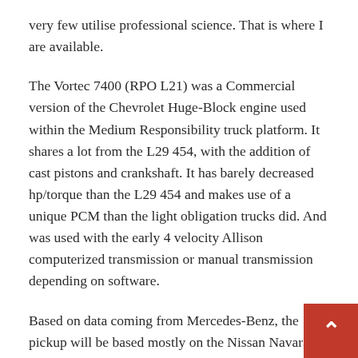very few utilise professional science. That is where I are available.
The Vortec 7400 (RPO L21) was a Commercial version of the Chevrolet Huge-Block engine used within the Medium Responsibility truck platform. It shares a lot from the L29 454, with the addition of cast pistons and crankshaft. It has barely decreased hp/torque than the L29 454 and makes use of a unique PCM than the light obligation trucks did. And was used with the early 4 velocity Allison computerized transmission or manual transmission depending on software.
Based on data coming from Mercedes-Benz, the pickup will be based mostly on the Nissan Navara NP300, explaining the car's testing disguise. Whereas Mercedes-Benz state th visual similarities between both pickups will … Read More